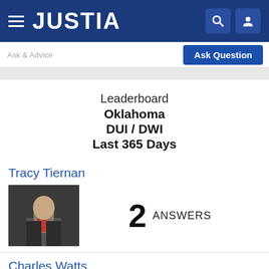JUSTIA
Ask Question
Leaderboard
Oklahoma
DUI / DWI
Last 365 Days
Tracy Tiernan
2 ANSWERS
Charles Watts
1